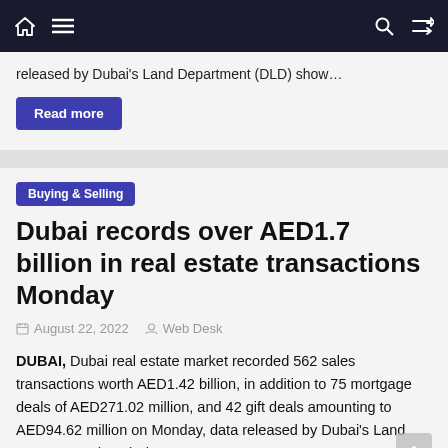Navigation bar with home, menu, search, and shuffle icons
released by Dubai's Land Department (DLD) show…
Read more
Buying & Selling
Dubai records over AED1.7 billion in real estate transactions Monday
August 22, 2022  Web Desk
DUBAI, Dubai real estate market recorded 562 sales transactions worth AED1.42 billion, in addition to 75 mortgage deals of AED271.02 million, and 42 gift deals amounting to AED94.62 million on Monday, data released by Dubai's Land Department (DLD) show…